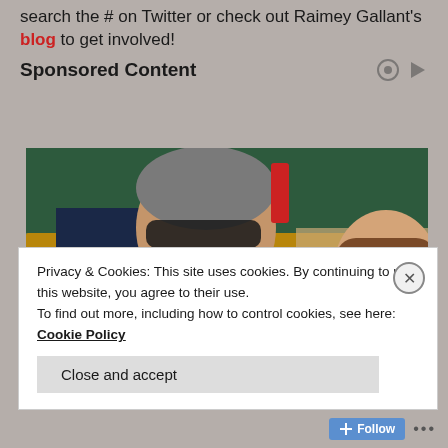search the # on Twitter or check out Raimey Gallant's blog to get involved!
Sponsored Content
[Figure (photo): Two people sitting in stadium seating — a middle-aged man in a navy suit with a gray tie wearing sunglasses, and a young woman with long brown hair wearing sunglasses and a patterned top, at what appears to be a tennis event]
Privacy & Cookies: This site uses cookies. By continuing to use this website, you agree to their use.
To find out more, including how to control cookies, see here: Cookie Policy
Close and accept